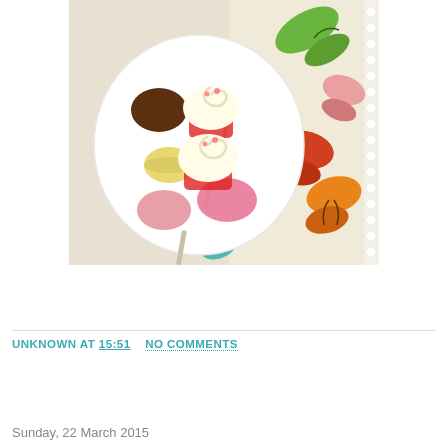[Figure (photo): Overhead view of a white plate with two frosted cupcakes in red paper liners, chocolates, macarons, and a fork, placed on a butterfly-patterned fabric placemat with pom-pom trim]
UNKNOWN AT 15:51    NO COMMENTS
SHARE
Sunday, 22 March 2015